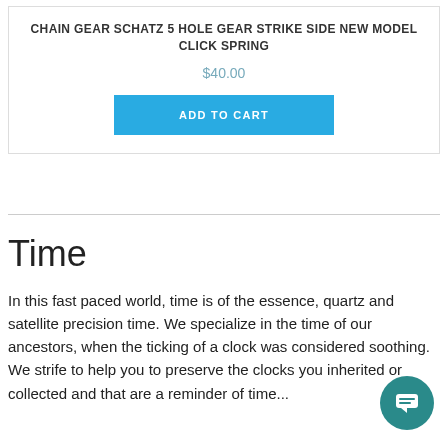CHAIN GEAR SCHATZ 5 HOLE GEAR STRIKE SIDE NEW MODEL CLICK SPRING
$40.00
ADD TO CART
Time
In this fast paced world, time is of the essence, quartz and satellite precision time. We specialize in the time of our ancestors, when the ticking of a clock was considered soothing. We strife to help you to preserve the clocks you inherited or collected and that are a reminder of time...